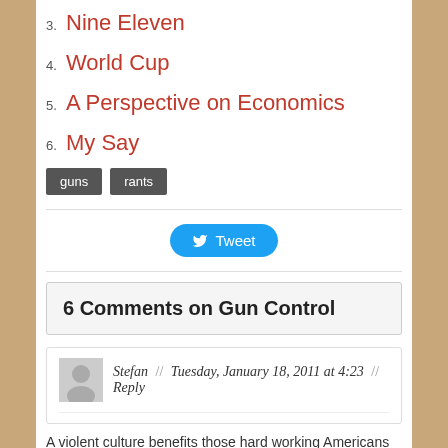3. Nine Eleven
4. World Cup
5. A Perspective on Economics
6. My Say
guns  rants
Tweet
6 Comments on Gun Control
Stefan // Tuesday, January 18, 2011 at 4:23 // Reply
A violent culture benefits those hard working Americans in